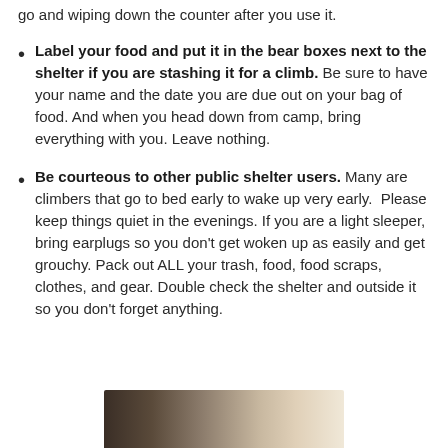go and wiping down the counter after you use it.
Label your food and put it in the bear boxes next to the shelter if you are stashing it for a climb. Be sure to have your name and the date you are due out on your bag of food. And when you head down from camp, bring everything with you. Leave nothing.
Be courteous to other public shelter users. Many are climbers that go to bed early to wake up very early. Please keep things quiet in the evenings. If you are a light sleeper, bring earplugs so you don't get woken up as easily and get grouchy. Pack out ALL your trash, food, food scraps, clothes, and gear. Double check the shelter and outside it so you don't forget anything.
[Figure (photo): A partial photo of what appears to be wooden boards or a shelter structure at the bottom of the page.]